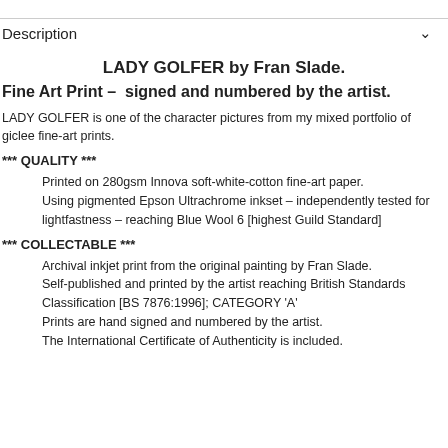Description
LADY GOLFER by Fran Slade.
Fine Art Print – signed and numbered by the artist.
LADY GOLFER is one of the character pictures from my mixed portfolio of giclee fine-art prints.
*** QUALITY ***
Printed on 280gsm Innova soft-white-cotton fine-art paper.
Using pigmented Epson Ultrachrome inkset – independently tested for lightfastness – reaching Blue Wool 6 [highest Guild Standard]
*** COLLECTABLE ***
Archival inkjet print from the original painting by Fran Slade.
Self-published and printed by the artist reaching British Standards Classification [BS 7876:1996]; CATEGORY 'A'
Prints are hand signed and numbered by the artist.
The International Certificate of Authenticity is included.